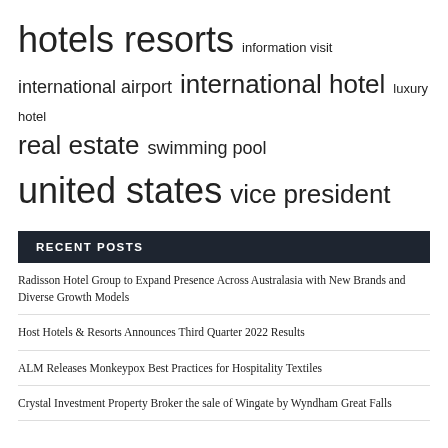[Figure (infographic): Tag cloud with terms of varying sizes: hotels resorts (extra large), information visit (small), international airport (medium), international hotel (large), luxury hotel (small), real estate (large), swimming pool (medium), united states (extra large), vice president (large)]
RECENT POSTS
Radisson Hotel Group to Expand Presence Across Australasia with New Brands and Diverse Growth Models
Host Hotels & Resorts Announces Third Quarter 2022 Results
ALM Releases Monkeypox Best Practices for Hospitality Textiles
Crystal Investment Property Broker the sale of Wingate by Wyndham Great Falls